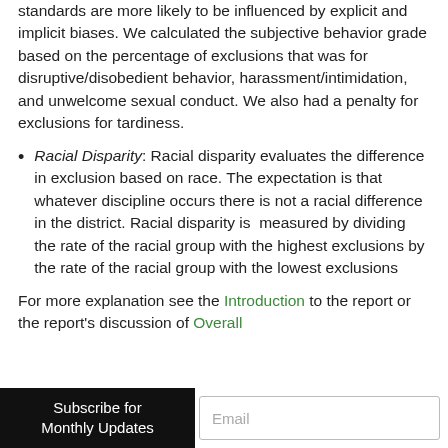standards are more likely to be influenced by explicit and implicit biases. We calculated the subjective behavior grade based on the percentage of exclusions that was for disruptive/disobedient behavior, harassment/intimidation, and unwelcome sexual conduct.  We also had a penalty for exclusions for tardiness.
Racial Disparity:  Racial disparity evaluates the difference in exclusion based on race. The expectation is that whatever discipline occurs there is not a racial difference in the district. Racial disparity is  measured by dividing the rate of the racial group with the highest exclusions by the rate of the racial group with the lowest exclusions
For more explanation see the Introduction to the report or the report's discussion of Overall